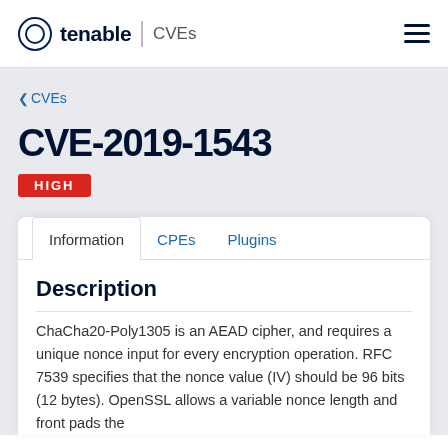tenable | CVEs
< CVEs
CVE-2019-1543
HIGH
Information   CPEs   Plugins
Description
ChaCha20-Poly1305 is an AEAD cipher, and requires a unique nonce input for every encryption operation. RFC 7539 specifies that the nonce value (IV) should be 96 bits (12 bytes). OpenSSL allows a variable nonce length and front pads the